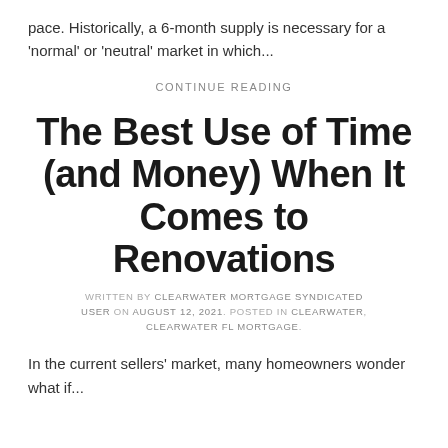pace. Historically, a 6-month supply is necessary for a 'normal' or 'neutral' market in which...
CONTINUE READING
The Best Use of Time (and Money) When It Comes to Renovations
WRITTEN BY CLEARWATER MORTGAGE SYNDICATED USER ON AUGUST 12, 2021. POSTED IN CLEARWATER, CLEARWATER FL MORTGAGE.
In the current sellers' market, many homeowners wonder what if...